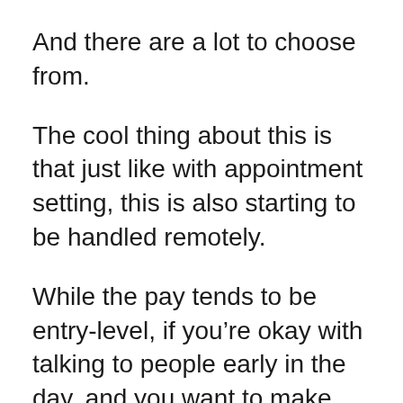And there are a lot to choose from.
The cool thing about this is that just like with appointment setting, this is also starting to be handled remotely.
While the pay tends to be entry-level, if you’re okay with talking to people early in the day, and you want to make sure that they’re taken care of and their questions are handled, this is the way to do it.
A lot of people can make some decent cash with this, and plus, hey, sometimes it’s less talking to people, and it might just